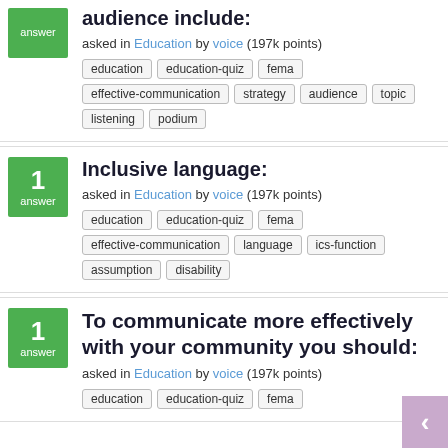audience include:
asked in Education by voice (197k points)
education
education-quiz
fema
effective-communication
strategy
audience
topic
listening
podium
Inclusive language:
asked in Education by voice (197k points)
education
education-quiz
fema
effective-communication
language
ics-function
assumption
disability
To communicate more effectively with your community you should:
asked in Education by voice (197k points)
education
education-quiz
fema